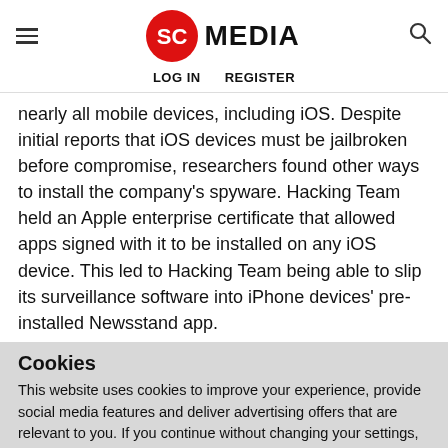SC MEDIA | LOG IN  REGISTER
nearly all mobile devices, including iOS. Despite initial reports that iOS devices must be jailbroken before compromise, researchers found other ways to install the company's spyware. Hacking Team held an Apple enterprise certificate that allowed apps signed with it to be installed on any iOS device. This led to Hacking Team being able to slip its surveillance software into iPhone devices' pre-installed Newsstand app.
Cookies
This website uses cookies to improve your experience, provide social media features and deliver advertising offers that are relevant to you. If you continue without changing your settings, you consent to our use of cookies in accordance with our privacy policy. You may disable cookies.